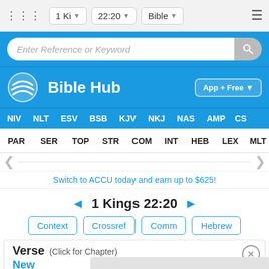1 Ki  22:20  Bible
[Figure (screenshot): Bible Hub website screenshot showing search bar, logo, navigation tabs, and verse 1 Kings 22:20]
Switch to ACCU today and earn up to $625!
◄ 1 Kings 22:20 ►
Context  Crossref  Comm  Hebrew
Verse (Click for Chapter)
New
And t